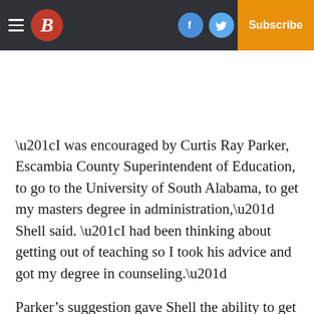B (logo) | Facebook | Twitter | Email | Log In | Subscribe
“I was encouraged by Curtis Ray Parker, Escambia County Superintendent of Education, to go to the University of South Alabama, to get my masters degree in administration,” Shell said. “I had been thinking about getting out of teaching so I took his advice and got my degree in counseling.”
Parker’s suggestion gave Shell the ability to get back